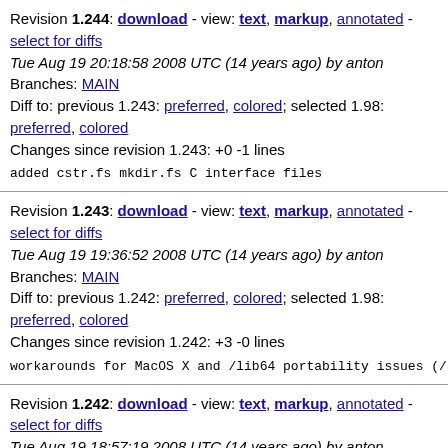Revision 1.244: download - view: text, markup, annotated - select for diffs
Tue Aug 19 20:18:58 2008 UTC (14 years ago) by anton
Branches: MAIN
Diff to: previous 1.243: preferred, colored; selected 1.98: preferred, colored
Changes since revision 1.243: +0 -1 lines

added cstr.fs mkdir.fs C interface files
Revision 1.243: download - view: text, markup, annotated - select for diffs
Tue Aug 19 19:36:52 2008 UTC (14 years ago) by anton
Branches: MAIN
Diff to: previous 1.242: preferred, colored; selected 1.98: preferred, colored
Changes since revision 1.242: +3 -0 lines

workarounds for MacOS X and /lib64 portability issues (/
Revision 1.242: download - view: text, markup, annotated - select for diffs
Tue Aug 19 18:57:19 2008 UTC (14 years ago) by anton
Branches: MAIN
Diff to: previous 1.241: preferred, colored; selected 1.98: